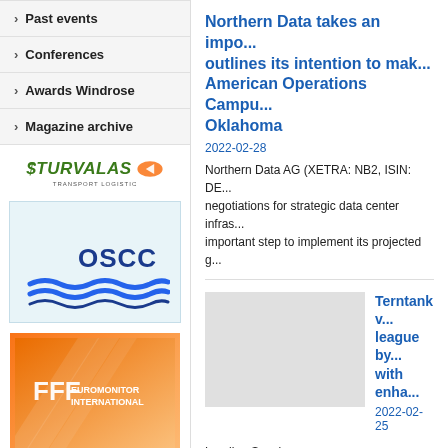Past events
Conferences
Awards Windrose
Magazine archive
[Figure (logo): Sturvalas Transport Logistic logo, green italic text with orange arrow]
[Figure (logo): OSCC logo with red crescent, blue OSCC text, and blue wave lines on light blue background]
[Figure (logo): Euromonitor International logo on orange gradient background]
Northern Data takes an impo... outlines its intention to mak... American Operations Campu... Oklahoma
2022-02-28
Northern Data AG (XETRA: NB2, ISIN: DE... negotiations for strategic data center infras... important step to implement its projected g...
Terntank v... league by... with enha...
2022-02-25
Leading Swed... on Friday, 25th of February, 2022. TERN F... LNG/LNG engine-powered engines, are 10... particulates during port operations and faci...
SMT is leading the world in t...
2022-02-25
Stream Marine Training (SMT) is expanding...